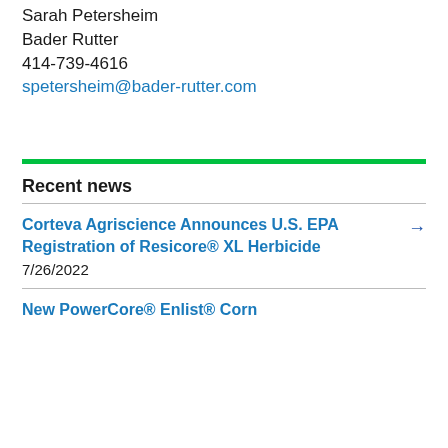Sarah Petersheim
Bader Rutter
414-739-4616
spetersheim@bader-rutter.com
Recent news
Corteva Agriscience Announces U.S. EPA Registration of Resicore® XL Herbicide
7/26/2022
New PowerCore® Enlist® Corn